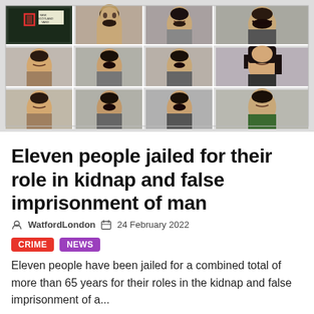[Figure (photo): Grid of 11 police mugshot photographs arranged in 3 rows of 4 columns (one cell blank), showing individuals involved in kidnap and false imprisonment case]
Eleven people jailed for their role in kidnap and false imprisonment of man
WatfordLondon  24 February 2022
CRIME  NEWS
Eleven people have been jailed for a combined total of more than 65 years for their roles in the kidnap and false imprisonment of a...